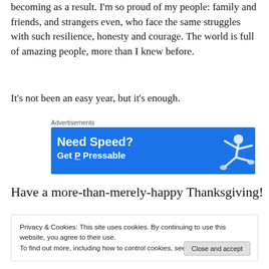becoming as a result. I'm so proud of my people: family and friends, and strangers even, who face the same struggles with such resilience, honesty and courage. The world is full of amazing people, more than I knew before.
It's not been an easy year, but it's enough.
[Figure (screenshot): Advertisement banner with blue background reading 'Need Speed? Get Pressable' with a figure of a person leaping in the air on the right side.]
Have a more-than-merely-happy Thanksgiving!
Privacy & Cookies: This site uses cookies. By continuing to use this website, you agree to their use.
To find out more, including how to control cookies, see here: Cookie Policy
The 5 Books To Read To Transform Your Life 2022